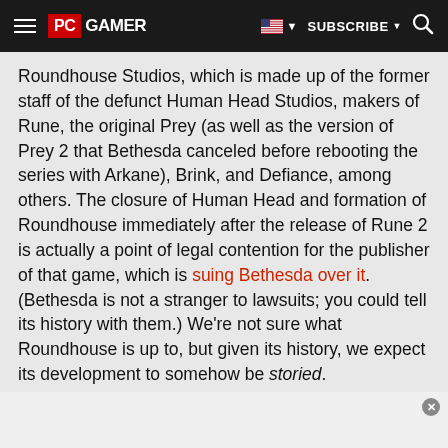PC GAMER | SUBSCRIBE | [search]
Roundhouse Studios, which is made up of the former staff of the defunct Human Head Studios, makers of Rune, the original Prey (as well as the version of Prey 2 that Bethesda canceled before rebooting the series with Arkane), Brink, and Defiance, among others. The closure of Human Head and formation of Roundhouse immediately after the release of Rune 2 is actually a point of legal contention for the publisher of that game, which is suing Bethesda over it. (Bethesda is not a stranger to lawsuits; you could tell its history with them.) We're not sure what Roundhouse is up to, but given its history, we expect its development to somehow be storied.